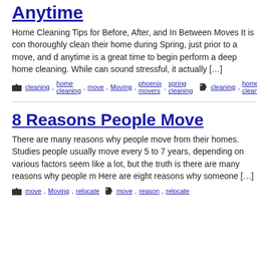Anytime
Home Cleaning Tips for Before, After, and In Between Moves It is con thoroughly clean their home during Spring, just prior to a move, and d anytime is a great time to begin perform a deep home cleaning. While can sound stressful, it actually […]
cleaning, home cleaning, move, Moving, phoenix movers, spring cleaning  cleaning, home cleaning, move, movin…
8 Reasons People Move
There are many reasons why people move from their homes. Studies people usually move every 5 to 7 years, depending on various factors seem like a lot, but the truth is there are many reasons why people m Here are eight reasons why someone […]
move, Moving, relocate  move, reason, relocate